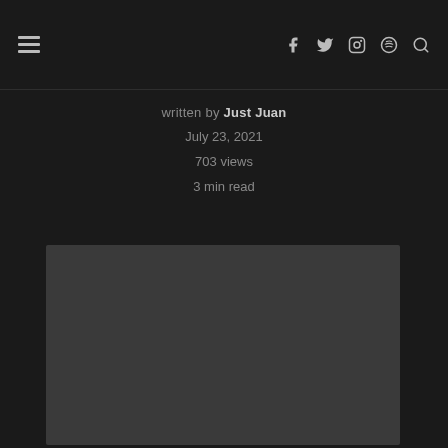≡  f  Twitter  Instagram  Spotify  🔍
written by Just Juan
July 23, 2021
703 views
3 min read
[Figure (photo): Dark grey rectangular image placeholder area]